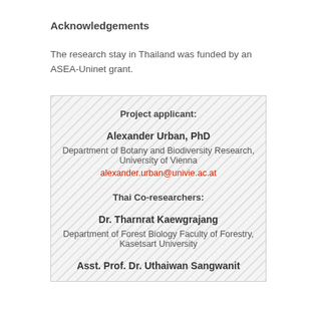Acknowledgements
The research stay in Thailand was funded by an ASEA-Uninet grant.
Project applicant:

Alexander Urban, PhD
Department of Botany and Biodiversity Research, University of Vienna
alexander.urban@univie.ac.at

Thai Co-researchers:

Dr. Tharnrat Kaewgrajang
Department of Forest Biology Faculty of Forestry, Kasetsart University

Asst. Prof. Dr. Uthaiwan Sangwanit